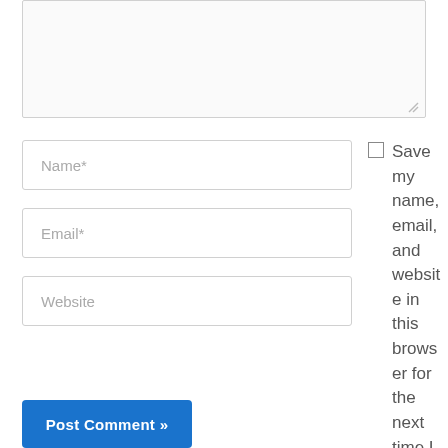[Figure (screenshot): Textarea input field (comment box) with resize handle at bottom right, partial view showing top portion]
Name*
Email*
Website
Save my name, email, and website in this browser for the next time I comment.
Post Comment